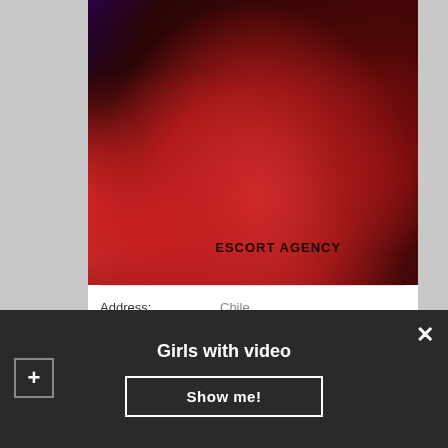[Figure (photo): Woman in purple sparkly dress seated on red tufted sofa wearing gold high heels, with watermark text ESCORT AGENCY]
| Address: | Chile |
| Age: | 26 years |
| Height: | 176 |
Girls with video
Show me!